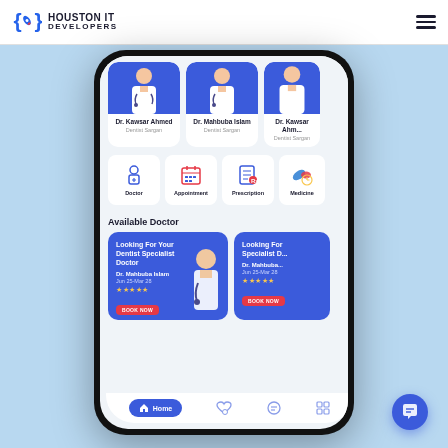[Figure (logo): Houston IT Developers logo with rocket icon in curly braces]
[Figure (screenshot): Mobile app screenshot of a doctor booking app showing doctor cards, category icons (Doctor, Appointment, Prescription, Medicine), Available Doctor section with cards for Dr. Mahbuba Islam, and bottom navigation bar with Home button]
[Figure (other): Blue chat bubble widget in bottom right corner]